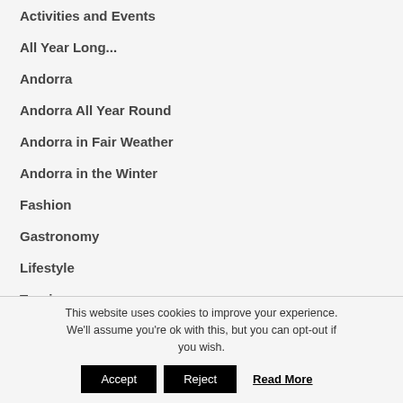Activities and Events
All Year Long...
Andorra
Andorra All Year Round
Andorra in Fair Weather
Andorra in the Winter
Fashion
Gastronomy
Lifestyle
Tourism
Uncategorized
This website uses cookies to improve your experience. We'll assume you're ok with this, but you can opt-out if you wish.
Accept | Reject | Read More